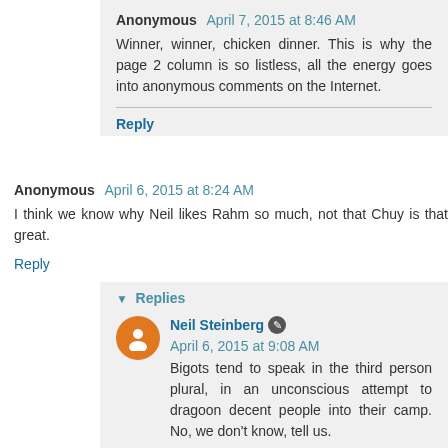Anonymous April 7, 2015 at 8:46 AM
Winner, winner, chicken dinner. This is why the page 2 column is so listless, all the energy goes into anonymous comments on the Internet.
Reply
Anonymous April 6, 2015 at 8:24 AM
I think we know why Neil likes Rahm so much, not that Chuy is that great.
Reply
▼ Replies
Neil Steinberg April 6, 2015 at 9:08 AM
Bigots tend to speak in the third person plural, in an unconscious attempt to dragoon decent people into their camp. No, we don't know, tell us.